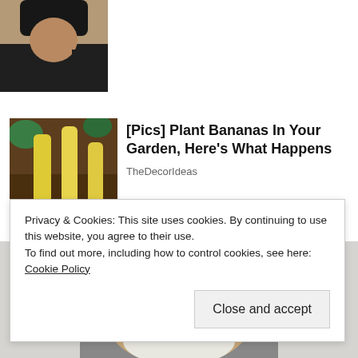[Figure (photo): Partial photo of a woman in a black tank top]
[Figure (photo): Photo of bananas planted upright in garden soil]
[Pics] Plant Bananas In Your Garden, Here's What Happens
TheDecorIdeas
[Figure (photo): Photo of an older man wearing a dark cowboy hat, looking upward]
Privacy & Cookies: This site uses cookies. By continuing to use this website, you agree to their use.
To find out more, including how to control cookies, see here: Cookie Policy
Close and accept